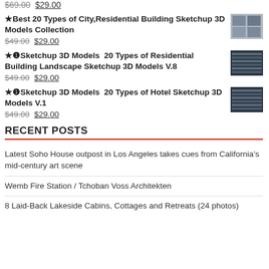$69.00 $29.00
★Best 20 Types of City,Residential Building Sketchup 3D Models Collection $49.00 $29.00
★❶Sketchup 3D Models 20 Types of Residential Building Landscape Sketchup 3D Models V.8 $49.00 $29.00
★❶Sketchup 3D Models 20 Types of Hotel Sketchup 3D Models V.1 $49.00 $29.00
RECENT POSTS
Latest Soho House outpost in Los Angeles takes cues from California's mid-century art scene
Wemb Fire Station / Tchoban Voss Architekten
8 Laid-Back Lakeside Cabins, Cottages and Retreats (24 photos)